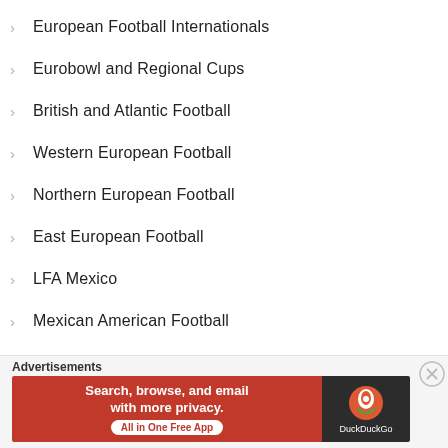European Football Internationals
Eurobowl and Regional Cups
British and Atlantic Football
Western European Football
Northern European Football
East European Football
LFA Mexico
Mexican American Football
Latin American Football Leagues
Japan X-League
Japan American Football
Asian American Football
Eurasia American Football
[Figure (other): DuckDuckGo advertisement banner: 'Search, browse, and email with more privacy. All in One Free App']